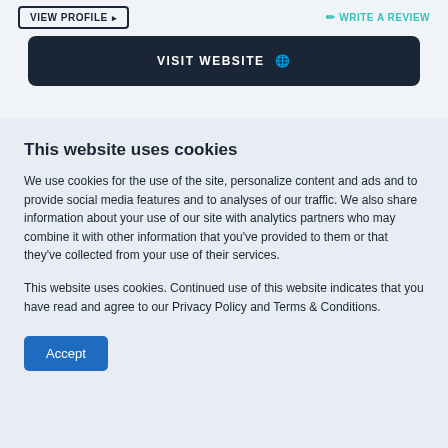[Figure (screenshot): Website UI screenshot showing top navigation bar with VIEW PROFILE button on left and WRITE A REVIEW link on right, and a dark navy VISIT WEBSITE button with globe icon below]
This website uses cookies
We use cookies for the use of the site, personalize content and ads and to provide social media features and to analyses of our traffic. We also share information about your use of our site with analytics partners who may combine it with other information that you've provided to them or that they've collected from your use of their services.
This website uses cookies. Continued use of this website indicates that you have read and agree to our Privacy Policy and Terms & Conditions.
Accept